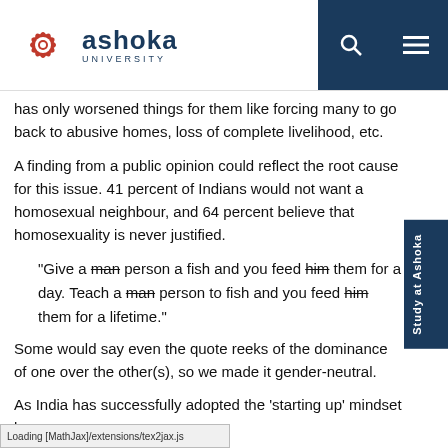Ashoka University
has only worsened things for them like forcing many to go back to abusive homes, loss of complete livelihood, etc.
A finding from a public opinion could reflect the root cause for this issue. 41 percent of Indians would not want a homosexual neighbour, and 64 percent believe that homosexuality is never justified.
“Give a man person a fish and you feed him them for a day. Teach a man person to fish and you feed him them for a lifetime.”
Some would say even the quote reeks of the dominance of one over the other(s), so we made it gender-neutral.
As India has successfully adopted the ‘starting up’ mindset by
Loading [MathJax]/extensions/tex2jax.js